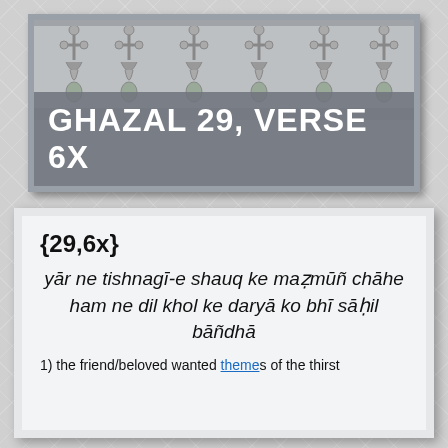[Figure (photo): Stone carved decorative frieze with ornamental floral and cross motifs, grey stone relief carving]
GHAZAL 29, VERSE 6X
{29,6x}
yār ne tishnagī-e shauq ke maẓmūñ chāhe
ham ne dil khol ke daryā ko bhī sāḥil bāñdhā
1) the friend/beloved wanted themes of the thirst